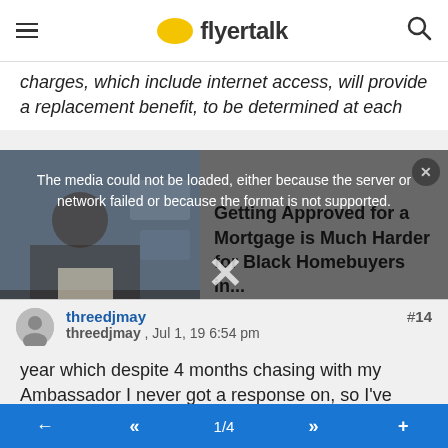flyertalk
charges, which include internet access, will provide a replacement benefit, to be determined at each
[Figure (screenshot): Video player area showing a dimmed thumbnail of a person at a table, with an overlay error message reading 'The media could not be loaded, either because the server or network failed or because the format is not supported.' and an X close button. To the right of the thumbnail is text: 'Getting Approved for a Mortgage is Much Harder for Black Homebuyers in...']
year which despite 4 months chasing with my Ambassador I never got a response on, so I've now stopped chasing.
threedjmay , Jul 1, 19 6:54 pm
← << 1/4 >> +